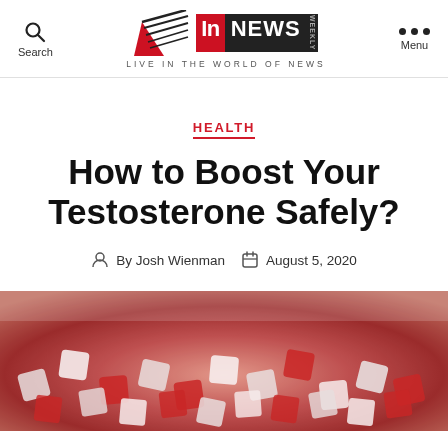Search | InNEWS Weekly — LIVE IN THE WORLD OF NEWS | Menu
HEALTH
How to Boost Your Testosterone Safely?
By Josh Wienman  August 5, 2020
[Figure (photo): Colorful letter tiles/scrabble pieces scattered in a pile, blurred background]